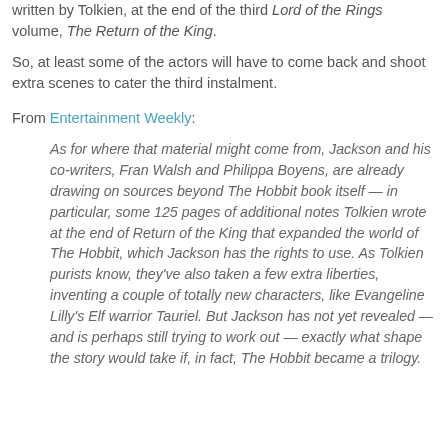written by Tolkien, at the end of the third Lord of the Rings volume, The Return of the King.
So, at least some of the actors will have to come back and shoot extra scenes to cater the third instalment.
From Entertainment Weekly:
As for where that material might come from, Jackson and his co-writers, Fran Walsh and Philippa Boyens, are already drawing on sources beyond The Hobbit book itself — in particular, some 125 pages of additional notes Tolkien wrote at the end of Return of the King that expanded the world of The Hobbit, which Jackson has the rights to use. As Tolkien purists know, they've also taken a few extra liberties, inventing a couple of totally new characters, like Evangeline Lilly's Elf warrior Tauriel. But Jackson has not yet revealed — and is perhaps still trying to work out — exactly what shape the story would take if, in fact, The Hobbit became a trilogy.